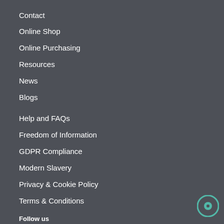Contact
Online Shop
Online Purchasing
Resources
News
Blogs
Help and FAQs
Freedom of Information
GDPR Compliance
Modern Slavery
Privacy & Cookie Policy
Terms & Conditions
Follow us
[Figure (infographic): Social media icons: Twitter, Facebook, Instagram, LinkedIn]
[Figure (logo): Cyber Essentials badge with a thumbs up graphic]
[Figure (other): Chat bubble icon in teal/green]